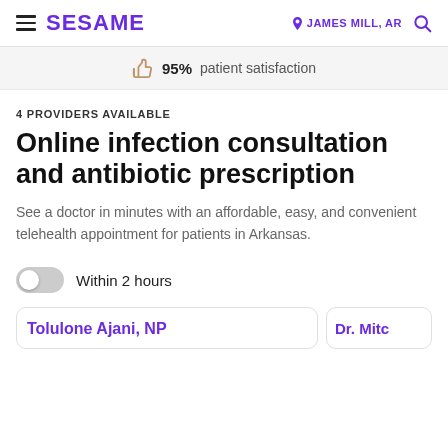SESAME | JAMES MILL, AR
95% patient satisfaction
4 PROVIDERS AVAILABLE
Online infection consultation and antibiotic prescription
See a doctor in minutes with an affordable, easy, and convenient telehealth appointment for patients in Arkansas.
Within 2 hours
Tolulone Ajani, NP
Dr. Mitch